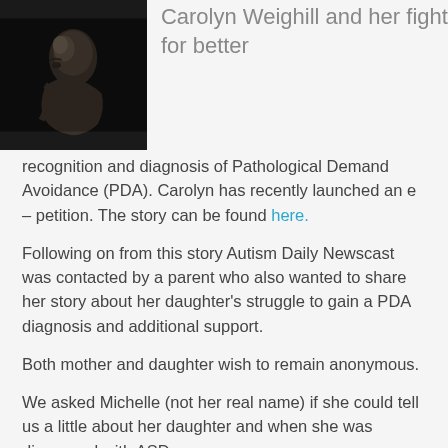[Figure (photo): Black and white close-up photo of a person's face/side profile, dark background]
Carolyn Weighill and her fight for better recognition and diagnosis of Pathological Demand Avoidance (PDA). Carolyn has recently launched an e – petition. The story can be found here.
Following on from this story Autism Daily Newscast was contacted by a parent who also wanted to share her story about her daughter's struggle to gain a PDA diagnosis and additional support.
Both mother and daughter wish to remain anonymous.
We asked Michelle (not her real name) if she could tell us a little about her daughter and when she was diagnosed with ASD.